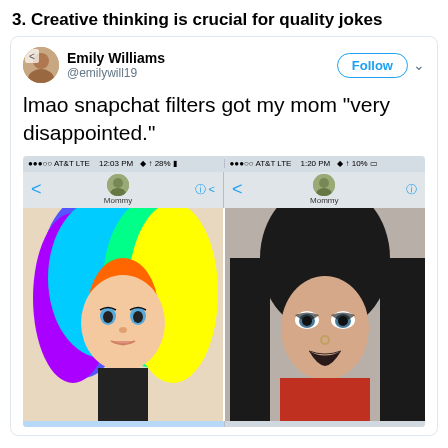3. Creative thinking is crucial for quality jokes
[Figure (screenshot): A tweet by Emily Williams (@emilywill19) with a Follow button. Tweet text reads: 'lmao snapchat filters got my mom "very disappointed."' Below is a screenshot of two phone screens showing iMessage conversations with 'Mommy', featuring a selfie with rainbow hair filter on the left and a gothic makeup selfie on the right.]